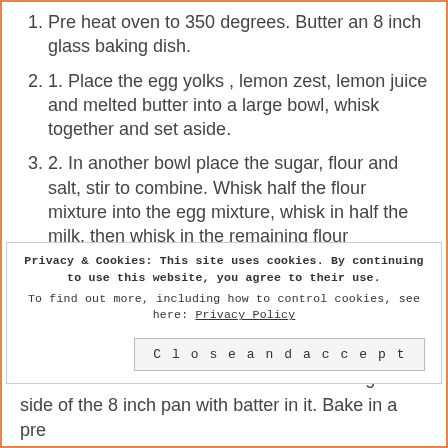Pre heat oven to 350 degrees. Butter an 8 inch glass baking dish.
1. Place the egg yolks , lemon zest, lemon juice and melted butter into a large bowl, whisk together and set aside.
2. In another bowl place the sugar, flour and salt, stir to combine. Whisk half the flour mixture into the egg mixture, whisk in half the milk, then whisk in the remaining flour mixture,whisk in the last half of the milk. The batter should be smooth.
3. Whip the egg whites until soft peaks form. Gently fold the egg whites into the batter.
4. Pour the batter into a buttered 8 inch glass
Privacy & Cookies: This site uses cookies. By continuing to use this website, you agree to their use. To find out more, including how to control cookies, see here: Privacy Policy
side of the 8 inch pan with batter in it. Bake in a pre